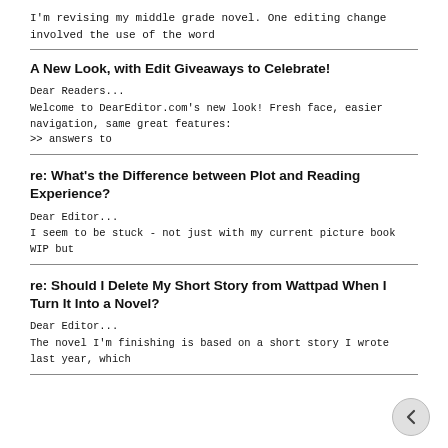I'm revising my middle grade novel. One editing change involved the use of the word
A New Look, with Edit Giveaways to Celebrate!
Dear Readers...
Welcome to DearEditor.com's new look! Fresh face, easier navigation, same great features:
>> answers to
re: What's the Difference between Plot and Reading Experience?
Dear Editor...
I seem to be stuck - not just with my current picture book WIP but
re: Should I Delete My Short Story from Wattpad When I Turn It Into a Novel?
Dear Editor...
The novel I'm finishing is based on a short story I wrote last year, which